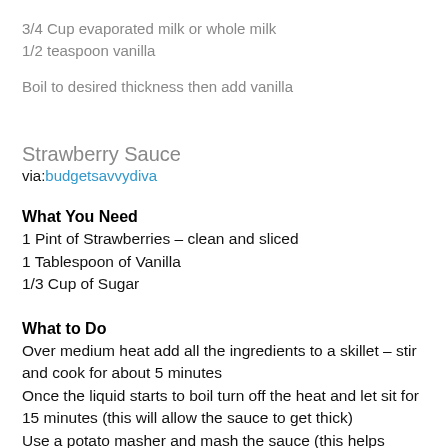3/4 Cup evaporated milk or whole milk
1/2 teaspoon vanilla
Boil to desired thickness then add vanilla
Strawberry Sauce
via:budgetsavvydiva
What You Need
1 Pint of Strawberries – clean and sliced
1 Tablespoon of Vanilla
1/3 Cup of Sugar
What to Do
Over medium heat add all the ingredients to a skillet – stir and cook for about 5 minutes
Once the liquid starts to boil turn off the heat and let sit for 15 minutes (this will allow the sauce to get thick)
Use a potato masher and mash the sauce (this helps